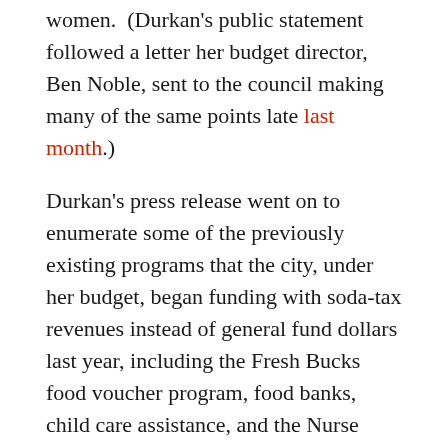women.  (Durkan's public statement followed a letter her budget director, Ben Noble, sent to the council making many of the same points late last month.)
Durkan's press release went on to enumerate some of the previously existing programs that the city, under her budget, began funding with soda-tax revenues instead of general fund dollars last year, including the Fresh Bucks food voucher program, food banks, child care assistance, and the Nurse Family Partnership. (The council approved the budget 8-1. Durkan's letter cites this vote to suggest that the the council supported this specific aspect of the budget, which many of them did not).